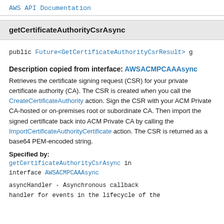AWS API Documentation
getCertificateAuthorityCsrAsync
public Future<GetCertificateAuthorityCsrResult> g
Description copied from interface: AWSACMPCAAAsync
Retrieves the certificate signing request (CSR) for your private certificate authority (CA). The CSR is created when you call the CreateCertificateAuthority action. Sign the CSR with your ACM Private CA-hosted or on-premises root or subordinate CA. Then import the signed certificate back into ACM Private CA by calling the ImportCertificateAuthorityCertificate action. The CSR is returned as a base64 PEM-encoded string.
Specified by:
getCertificateAuthorityCsrAsync in interface AWSACMPCAAAsync
asyncHandler - Asynchronous callback handler for events in the lifecycle of the